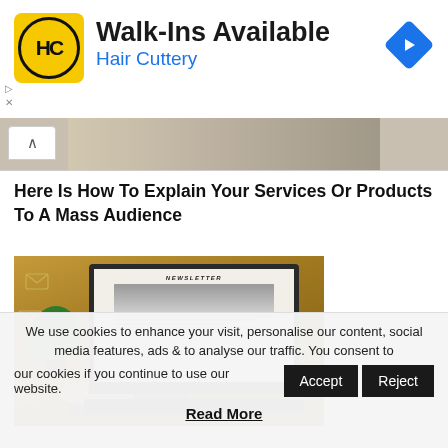[Figure (other): Hair Cuttery advertisement banner with logo (HC in yellow circle), text Walk-Ins Available and Hair Cuttery in blue, and a blue diamond navigation arrow icon on the right]
[Figure (photo): Partial photo strip showing hands over a desk, partially scrolled]
Here Is How To Explain Your Services Or Products To A Mass Audience
[Figure (photo): Photo of a person typing on a laptop showing a newsletter on screen, with a plant and scattered envelope icons on a wooden desk background]
We use cookies to enhance your visit, personalise our content, social media features, ads & to analyse our traffic. You consent to our cookies if you continue to use our website.
Read More